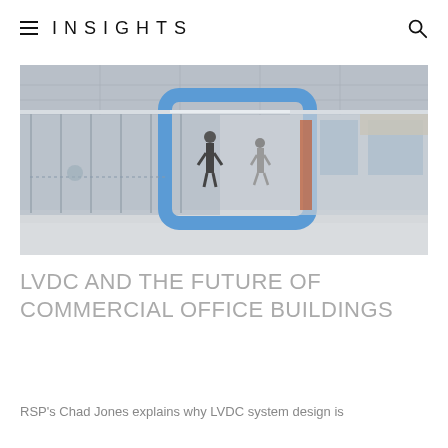INSIGHTS
[Figure (photo): Interior of a modern commercial office building showing glass-walled rooms with a blue architectural accent frame, people walking in a bright open corridor.]
LVDC AND THE FUTURE OF COMMERCIAL OFFICE BUILDINGS
RSP's Chad Jones explains why LVDC system design is